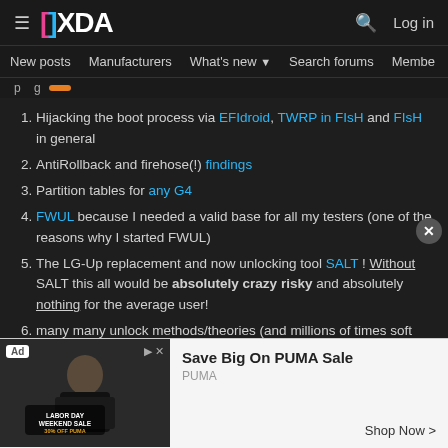XDA - New posts, Manufacturers, What's new, Search forums, Members | Log in
Hijacking the boot process via EFIdroid, TWRP in FIsH and FIsH in general
AntiRollback and firehose(!) findings
Partition tables for any G4
FWUL because I needed a valid base for all my testers (one of the reasons why I started FWUL)
The LG-Up replacement and now unlocking tool SALT ! Without SALT this all would be absolutely crazy risky and absolutely nothing for the average user!
many many unlock methods/theories (and millions of times soft and hard bricked) in my PoC thread
[Figure (screenshot): Advertisement banner: Save Big On PUMA Sale - Labor Day Weekend Sale 30% off PUMA, with shop now button]